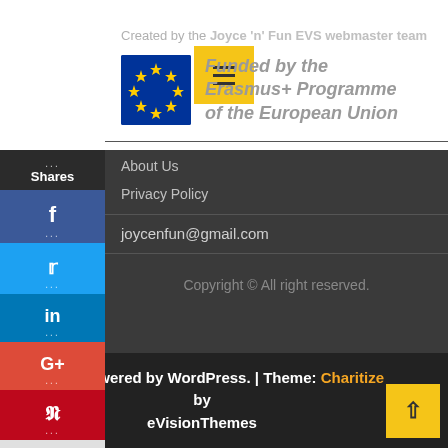[Figure (screenshot): Yellow hamburger menu button at top center of page]
[Figure (infographic): Social media sharing sidebar with Facebook, Twitter, LinkedIn, Google+, Pinterest icons and share count]
Created by the Joyce 'n' Fun EVS webmaster team
[Figure (logo): EU flag logo with text: Funded by the Erasmus+ Programme of the European Union]
About Us
Privacy Policy
joycenfun@gmail.com
Copyright © All right reserved.
Proudly powered by WordPress. | Theme: Charitize by eVisionThemes